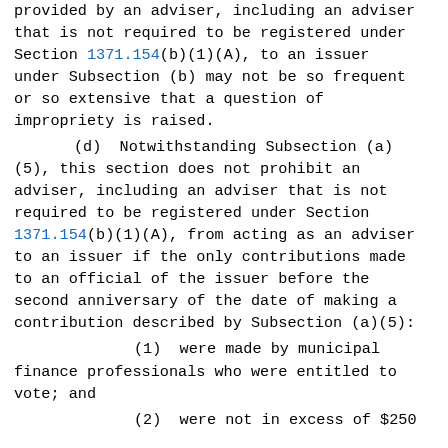(…) provided by an adviser, including an adviser that is not required to be registered under Section 1371.154(b)(1)(A), to an issuer under Subsection (b) may not be so frequent or so extensive that a question of impropriety is raised.

(d) Notwithstanding Subsection (a)(5), this section does not prohibit an adviser, including an adviser that is not required to be registered under Section 1371.154(b)(1)(A), from acting as an adviser to an issuer if the only contributions made to an official of the issuer before the second anniversary of the date of making a contribution described by Subsection (a)(5):

(1) were made by municipal finance professionals who were entitled to vote; and

(2) were not in excess of $250…